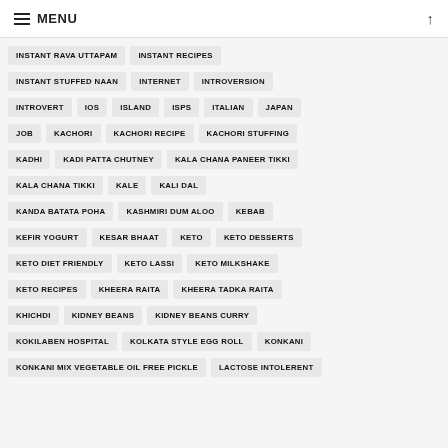MENU
INSTANT RAVA UTTAPAM
INSTANT RECIPES
INSTANT STUFFED NAAN
INTERNET
INTROVERSION
INTROVERT
IOS
ISLAND
ISPS
ITALIAN
JAPAN
JOB
KACHORI
KACHORI RECIPE
KACHORI STUFFING
KADHI
KADI PATTA CHUTNEY
KALA CHANA PANEER TIKKI
KALA CHANA TIKKI
KALE
KALI DAL
KANDA BATATA POHA
KASHMIRI DUM ALOO
KEBAB
KEFIR YOGURT
KESAR BHAAT
KETO
KETO DESSERTS
KETO DIET FRIENDLY
KETO LASSI
KETO MILKSHAKE
KETO RECIPES
KHEERA RAITA
KHEERA TADKA RAITA
KHICHDI
KIDNEY BEANS
KIDNEY BEANS CURRY
KOKILABEN HOSPITAL
KOLKATA STYLE EGG ROLL
KONKANI
KONKANI MIX VEGETABLE OIL FREE PICKLE
LACTOSE INTOLERENT